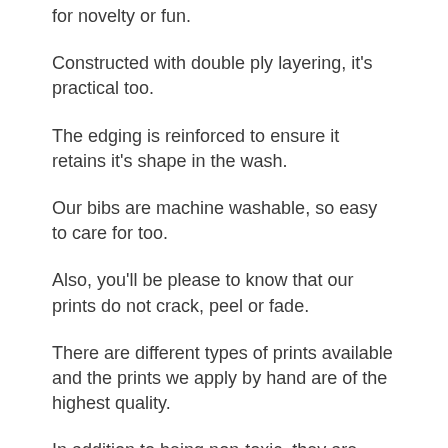for novelty or fun.
Constructed with double ply layering, it's practical too.
The edging is reinforced to ensure it retains it's shape in the wash.
Our bibs are machine washable, so easy to care for too.
Also, you'll be please to know that our prints do not crack, peel or fade.
There are different types of prints available and the prints we apply by hand are of the highest quality.
In addition to being non-toxic, they are bright and fade-resistant.
As if they weren't cool enough as they are, they are also